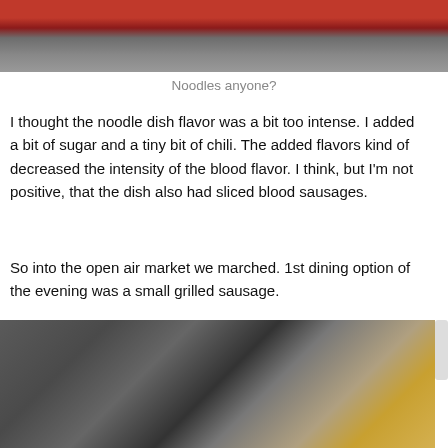[Figure (photo): Top portion of a photo showing a red sign/bowl partially visible at the top, with a blurred background below.]
Noodles anyone?
I thought the noodle dish flavor was a bit too intense. I added a bit of sugar and a tiny bit of chili. The added flavors kind of decreased the intensity of the blood flavor. I think, but I'm not positive, that the dish also had sliced blood sausages.
So into the open air market we marched. 1st dining option of the evening was a small grilled sausage.
[Figure (photo): Photo of a street food vendor at an open air market, seen from behind, wearing a grey apron, with food items and drinks visible on a cart.]